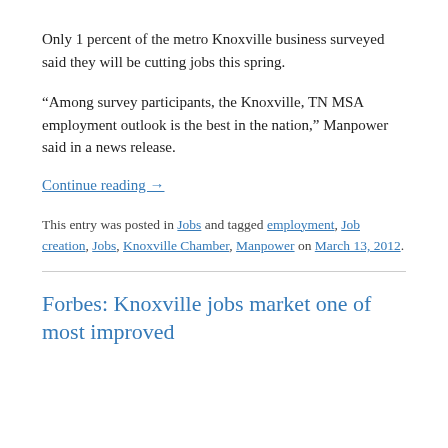Only 1 percent of the metro Knoxville business surveyed said they will be cutting jobs this spring.
“Among survey participants, the Knoxville, TN MSA employment outlook is the best in the nation,” Manpower said in a news release.
Continue reading →
This entry was posted in Jobs and tagged employment, Job creation, Jobs, Knoxville Chamber, Manpower on March 13, 2012.
Forbes: Knoxville jobs market one of most improved